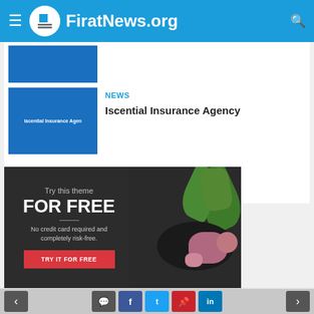FiratNews.org
[Figure (screenshot): Partial news thumbnail image (blue background, top of page)]
NEWS
Iscential Insurance Agency
[Figure (photo): Advertisement banner: Try this theme FOR FREE. No credit card required and completely risk-free. TRY IT FOR FREE button. Background shows dark plate with salad greens and flowers.]
Navigation bar with previous/next arrows and social share icons: comment, facebook, twitter, pinterest, linkedin